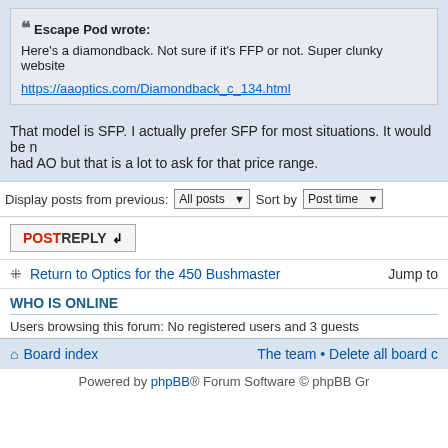Escape Pod wrote: Here's a diamondback. Not sure if it's FFP or not. Super clunky website
https://aaoptics.com/Diamondback_c_134.html
That model is SFP. I actually prefer SFP for most situations. It would be nice if it had AO but that is a lot to ask for that price range.
Display posts from previous: All posts   Sort by Post time
POSTREPLY
Return to Optics for the 450 Bushmaster
Jump to
WHO IS ONLINE
Users browsing this forum: No registered users and 3 guests
Board index
The team • Delete all board c
Powered by phpBB® Forum Software © phpBB Gr